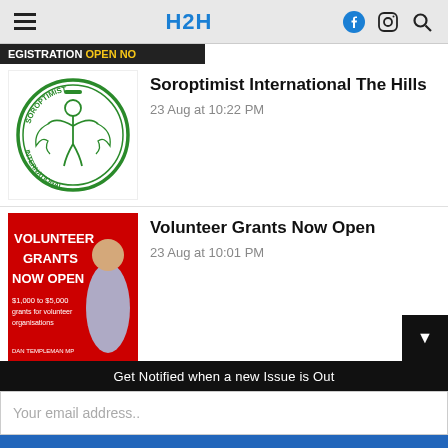H2H
[Figure (screenshot): Registration Open Now banner (partial, dark background, yellow text 'OPEN NOW')]
[Figure (logo): Soroptimist International circular green logo with woman figure]
Soroptimist International The Hills
23 Aug at 10:22 PM
[Figure (photo): Red banner reading VOLUNTEER GRANTS NOW OPEN with woman in blue shirt, text $1,000 to $5,000 grants for volunteer organisations, DAN TEMPLEMAN MP]
Volunteer Grants Now Open
23 Aug at 10:01 PM
Get Notified when a new Issue is Out
Your email address..
SUBSCRIBE